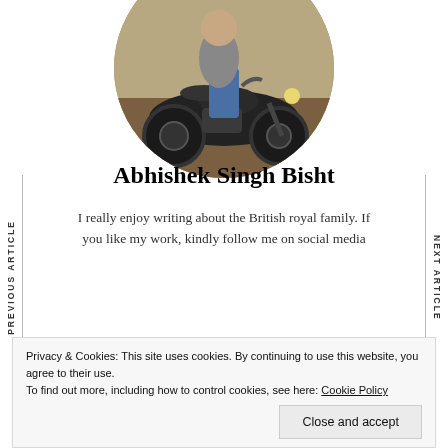[Figure (photo): Circular profile photo of a person sitting on a Royal Enfield motorcycle outdoors]
Abhishek Singh Bisht
I really enjoy writing about the British royal family. If you like my work, kindly follow me on social media
PREVIOUS ARTICLE
NEXT ARTICLE
Privacy & Cookies: This site uses cookies. By continuing to use this website, you agree to their use.
To find out more, including how to control cookies, see here: Cookie Policy
Close and accept